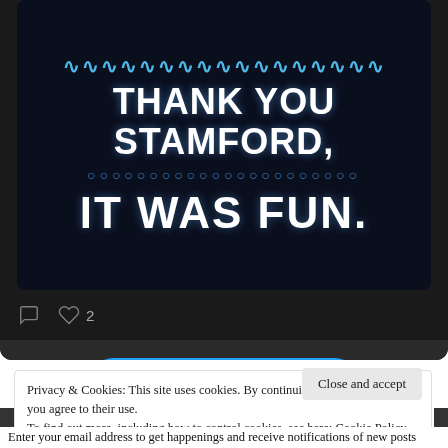[Figure (screenshot): Twitter/social media embed screenshot showing a dark post image with text 'THANK YOU STAMFORD, IT WAS FUN.' with decorative wave and dot patterns in white and blue on dark background]
♡ 2
View more on Twitter
ⓘ Learn more about privacy on Twitter
Privacy & Cookies: This site uses cookies. By continuing to use this website, you agree to their use.
To find out more, including how to control cookies, see here: Cookie Policy
Close and accept
Enter your email address to get happenings and receive notifications of new posts